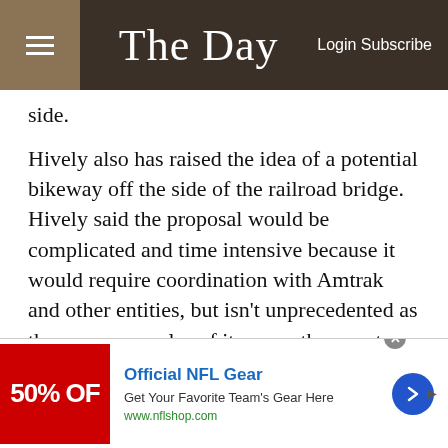The Day — Login Subscribe
side.
Hively also has raised the idea of a potential bikeway off the side of the railroad bridge. Hively said the proposal would be complicated and time intensive because it would require coordination with Amtrak and other entities, but isn't unprecedented as there are examples of it across the country.
Hodges Square in New London
Hodges Square, an area of the city that became isolated from downtown with the construction of Interstate 95, has
[Figure (screenshot): Advertisement banner for Official NFL Gear showing 50% off promotion with red background image, blue link text, and a blue circular arrow button]